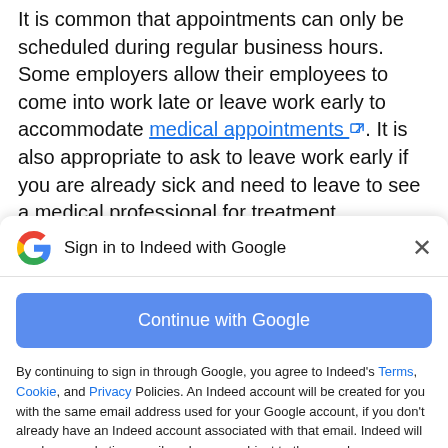It is common that appointments can only be scheduled during regular business hours. Some employers allow their employees to come into work late or leave work early to accommodate medical appointments [external link]. It is also appropriate to ask to leave work early if you are already sick and need to leave to see a medical professional for treatment.
[Figure (screenshot): A modal dialog box with Google logo, title 'Sign in to Indeed with Google', a close (X) button, a blue 'Continue with Google' button, and legal/privacy policy text below.]